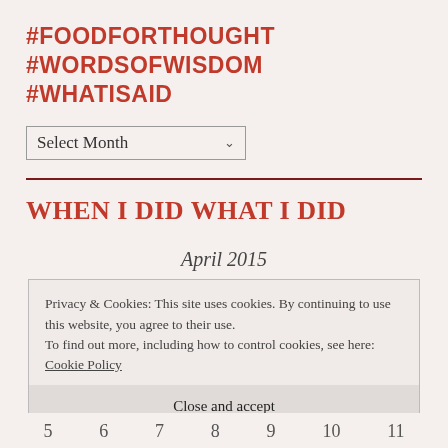#FOODFORTHOUGHT
#WORDSOFWISDOM
#WHATISAID
Select Month
WHEN I DID WHAT I DID
April 2015
Privacy & Cookies: This site uses cookies. By continuing to use this website, you agree to their use.
To find out more, including how to control cookies, see here:
Cookie Policy
Close and accept
5   6   7   8   9   10   11